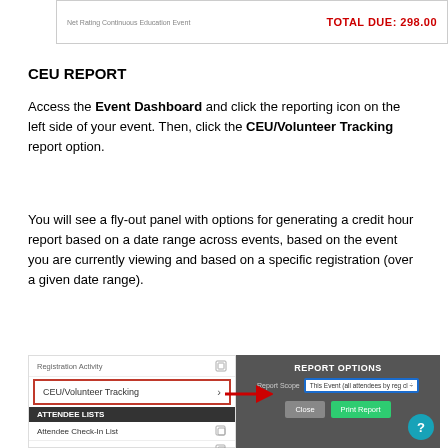[Figure (screenshot): Top screenshot strip showing 'TOTAL DUE: 298.00' in red on right side, with small gray text on left]
CEU REPORT
Access the Event Dashboard and click the reporting icon on the left side of your event. Then, click the CEU/Volunteer Tracking report option.
You will see a fly-out panel with options for generating a credit hour report based on a date range across events, based on the event you are currently viewing and based on a specific registration (over a given date range).
[Figure (screenshot): Screenshot showing a left panel with 'CEU/Volunteer Tracking' menu item highlighted in a red box with a red arrow pointing right to a dark 'REPORT OPTIONS' panel with Report Scope dropdown showing 'This Event (all attendees by reg cl' and Close/Print Report buttons. Below in the left panel are ATTENDEE LISTS, Attendee Check-In List, and Minor Report items.]